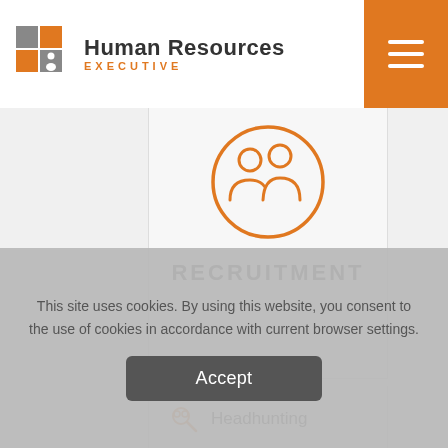Human Resources EXECUTIVE
[Figure (illustration): Orange circle icon with two human silhouettes representing recruitment]
RECRUITMENT
Headhunting
Managers and experts recruitment
This site uses cookies. By using this website, you consent to the use of cookies in accordance with current browser settings.